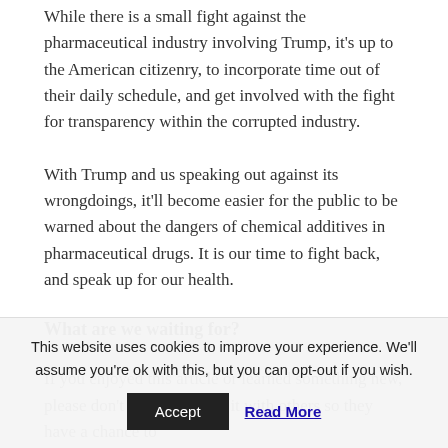While there is a small fight against the pharmaceutical industry involving Trump, it's up to the American citizenry, to incorporate time out of their daily schedule, and get involved with the fight for transparency within the corrupted industry.
With Trump and us speaking out against its wrongdoings, it'll become easier for the public to be warned about the dangers of chemical additives in pharmaceutical drugs. It is our time to fight back, and speak up for our health.
What are we waiting for?
If you enjoyed this article or learned something new, please don't forget to share it with others so they have a chance to
This website uses cookies to improve your experience. We'll assume you're ok with this, but you can opt-out if you wish.
Accept
Read More